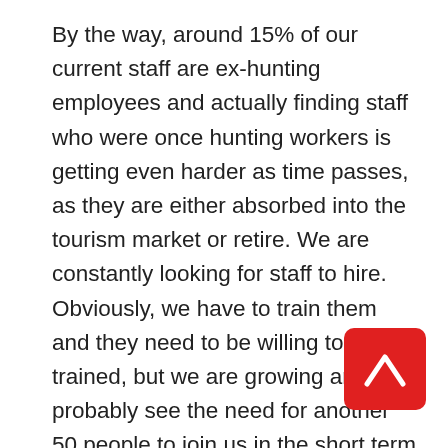By the way, around 15% of our current staff are ex-hunting employees and actually finding staff who were once hunting workers is getting even harder as time passes, as they are either absorbed into the tourism market or retire. We are constantly looking for staff to hire. Obviously, we have to train them and they need to be willing to be trained, but we are growing and will probably see the need for another 50 people to join us in the short term (18 months). We hire about 300 people in Botswana alone and over 660 across the group. According to the UN benefit proportion of breadwinners:dependants means we put food in the mouths of over